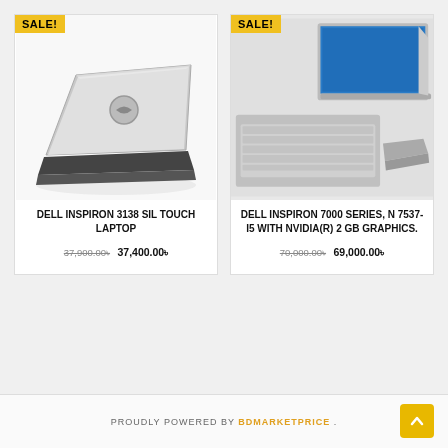[Figure (photo): Dell Inspiron 3138 SIL Touch Laptop - silver laptop shown from rear, with yellow SALE! badge]
DELL INSPIRON 3138 SIL TOUCH LAPTOP
37,900.00৳  37,400.00৳
[Figure (photo): Dell Inspiron 7000 Series N7537-I5 laptop shown from multiple angles, with yellow SALE! badge]
DELL INSPIRON 7000 SERIES, N 7537-I5 WITH NVIDIA(R) 2 GB GRAPHICS.
70,000.00৳  69,000.00৳
PROUDLY POWERED BY BDMARKETPRICE .